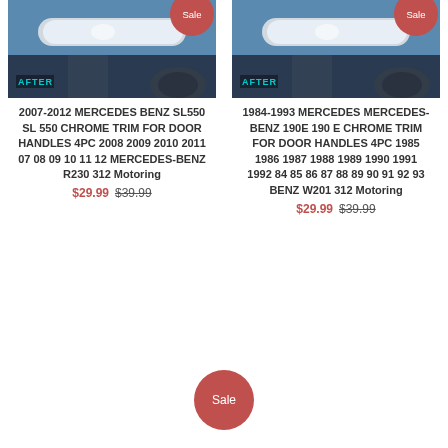[Figure (photo): Car door handle chrome trim product photo with AFTER label in cyan, showing chrome handle against blue sky background]
2007-2012 MERCEDES BENZ SL550 SL 550 CHROME TRIM FOR DOOR HANDLES 4PC 2008 2009 2010 2011 07 08 09 10 11 12 MERCEDES-BENZ R230 312 Motoring
$29.99 $39.99
[Figure (photo): Car door handle chrome trim product photo with AFTER label in cyan, showing chrome handle against blue sky background]
1984-1993 MERCEDES MERCEDES-BENZ 190E 190 E CHROME TRIM FOR DOOR HANDLES 4PC 1985 1986 1987 1988 1989 1990 1991 1992 84 85 86 87 88 89 90 91 92 93 BENZ W201 312 Motoring
$29.99 $39.99
Sale